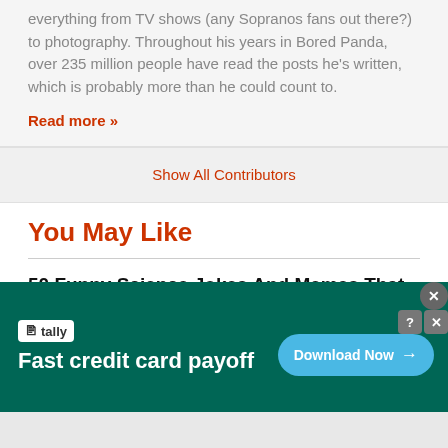everything from TV shows (any Sopranos fans out there?) to photography. Throughout his years in Bored Panda, over 235 million people have read the posts he's written, which is probably more than he could count to.
Read more »
Show All Contributors
You May Like
50 Funny Science Jokes And Memes That Don't Require An IQ Of 300 To Get
Viktorija Ošikaitė
[Figure (screenshot): Advertisement banner for Tally app: dark teal background with Tally logo, text 'Fast credit card payoff', and a blue 'Download Now' button with arrow. Close (X) and info (?) buttons in top right corner.]